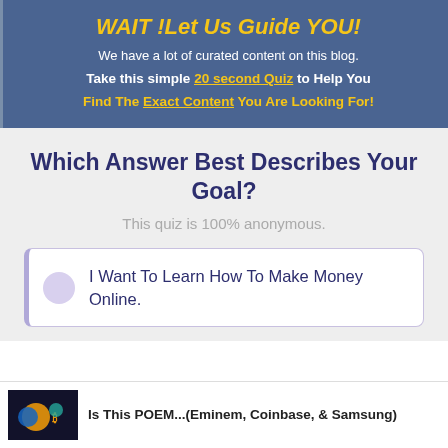WAIT !Let Us Guide YOU!
We have a lot of curated content on this blog.
Take this simple 20 second Quiz to Help You Find The Exact Content You Are Looking For!
Which Answer Best Describes Your Goal?
This quiz is 100% anonymous.
I Want To Learn How To Make Money Online.
Is This POEM...(Eminem, Coinbase, & Samsung)